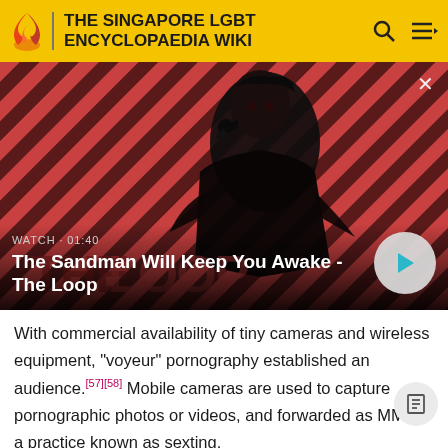THE SINGAPORE LGBT ENCYCLOPAEDIA WIKI
[Figure (screenshot): Video thumbnail showing a dark figure with a raven on shoulder against a red and black diagonal striped background. Text overlay reads 'WATCH · 01:40' and 'The Sandman Will Keep You Awake - The Loop' with a play button.]
With commercial availability of tiny cameras and wireless equipment, "voyeur" pornography established an audience.[57][58] Mobile cameras are used to capture pornographic photos or videos, and forwarded as MMS, a practice known as sexting.